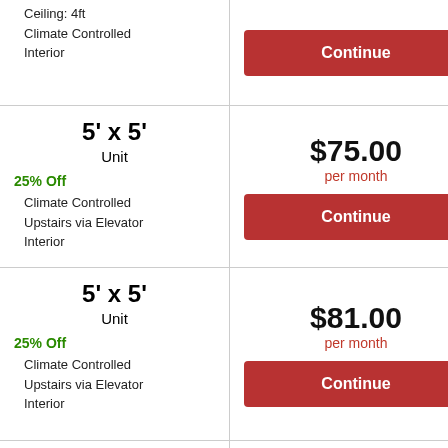Ceiling: 4ft
Climate Controlled
Interior
Continue
5' x 5' Unit
$75.00 per month
25% Off
Climate Controlled
Upstairs via Elevator
Interior
Continue
5' x 5' Unit
$81.00 per month
25% Off
Climate Controlled
Upstairs via Elevator
Interior
Continue
5' x 5'
$84.00